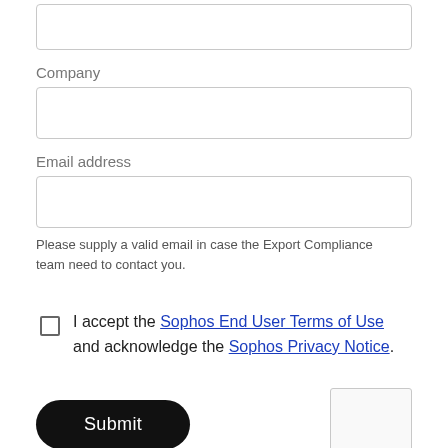[Figure (screenshot): Empty text input field (top of page, partially visible)]
Company
[Figure (screenshot): Empty text input field for Company]
Email address
[Figure (screenshot): Empty text input field for Email address]
Please supply a valid email in case the Export Compliance team need to contact you.
I accept the Sophos End User Terms of Use and acknowledge the Sophos Privacy Notice.
[Figure (screenshot): Submit button (black rounded rectangle) and partial captcha widget]